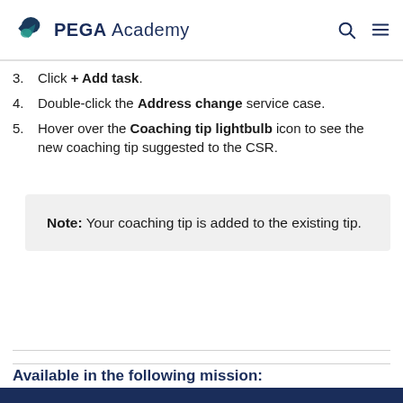PEGA Academy
3. Click + Add task.
4. Double-click the Address change service case.
5. Hover over the Coaching tip lightbulb icon to see the new coaching tip suggested to the CSR.
Note: Your coaching tip is added to the existing tip.
Available in the following mission:
By using this site, you agree to the use of cookies. Read our Privacy Policy
Accept and continue
About cookies